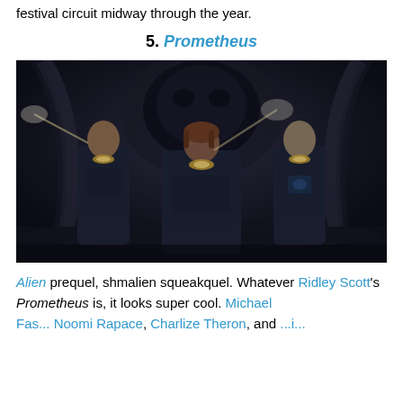festival circuit midway through the year.
5. Prometheus
[Figure (photo): Three actors in dark futuristic space suits standing in an alien environment with large mechanical/alien structures behind them. A woman stands in the center flanked by two men, all equipped with lights on their suits. Scene from the movie Prometheus.]
Alien prequel, shmalien squeakquel. Whatever Ridley Scott's Prometheus is, it looks super cool. Michael Fassbender Noomi Rapace Charlize Theron and...